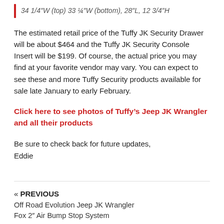34 1/4"W (top) 33 ¼"W (bottom), 28"L, 12 3/4"H
The estimated retail price of the Tuffy JK Security Drawer will be about $464 and the Tuffy JK Security Console Insert will be $199. Of course, the actual price you may find at your favorite vendor may vary. You can expect to see these and more Tuffy Security products available for sale late January to early February.
Click here to see photos of Tuffy's Jeep JK Wrangler and all their products
Be sure to check back for future updates,
Eddie
« PREVIOUS
Off Road Evolution Jeep JK Wrangler
Fox 2″ Air Bump Stop System